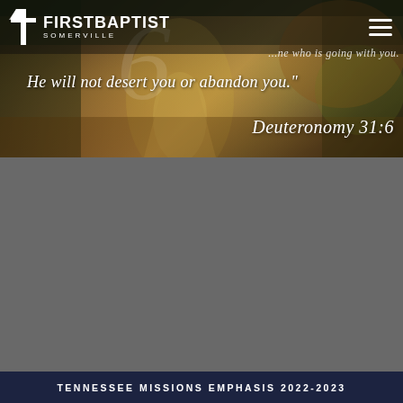[Figure (photo): First Baptist Somerville church website banner. Forest path with sunlight breaking through trees in autumn/golden tones. Overlaid with white cursive/script text quoting Deuteronomy 31:6.]
FIRST BAPTIST SOMERVILLE
...ne who is going with you.
He will not desert you or abandon you."
Deuteronomy 31:6
TENNESSEE MISSIONS EMPHASIS 2022-2023